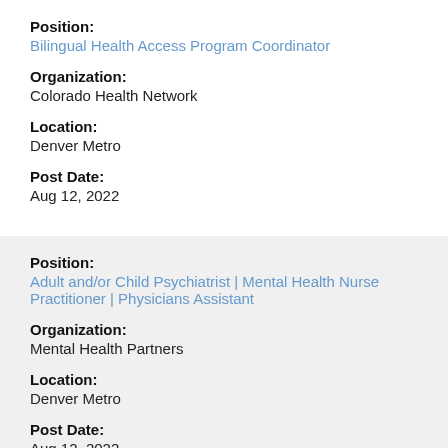Position:
Bilingual Health Access Program Coordinator
Organization:
Colorado Health Network
Location:
Denver Metro
Post Date:
Aug 12, 2022
Position:
Adult and/or Child Psychiatrist | Mental Health Nurse Practitioner | Physicians Assistant
Organization:
Mental Health Partners
Location:
Denver Metro
Post Date:
Aug 12, 2022